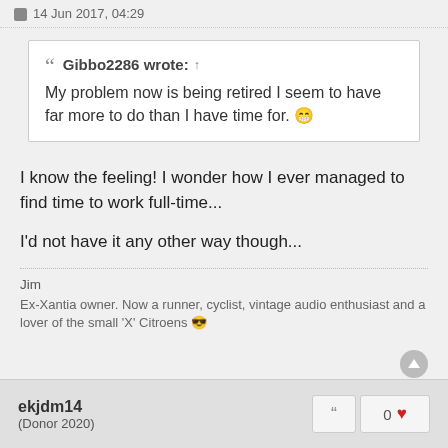14 Jun 2017, 04:29
Gibbo2286 wrote: ↑
My problem now is being retired I seem to have far more to do than I have time for. 😁
I know the feeling! I wonder how I ever managed to find time to work full-time...

I'd not have it any other way though...
Jim
Ex-Xantia owner. Now a runner, cyclist, vintage audio enthusiast and a lover of the small 'X' Citroens 😎
ekjdm14
(Donor 2020)